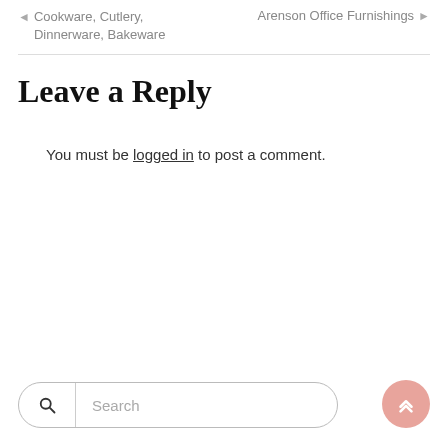◄ Cookware, Cutlery, Dinnerware, Bakeware
Arenson Office Furnishings ►
Leave a Reply
You must be logged in to post a comment.
Search